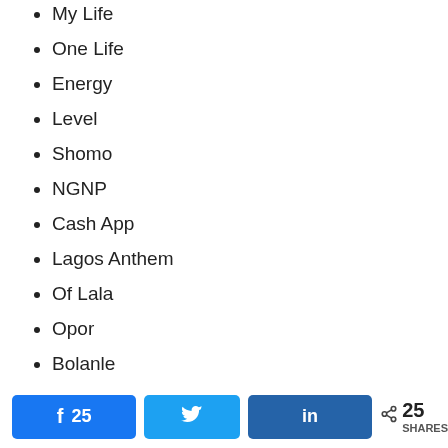My Life
One Life
Energy
Level
Shomo
NGNP
Cash App
Lagos Anthem
Of Lala
Opor
Bolanle
Yeye Boyfriend
Osanle
Gbeku
25  [Twitter]  in  < 25 SHARES